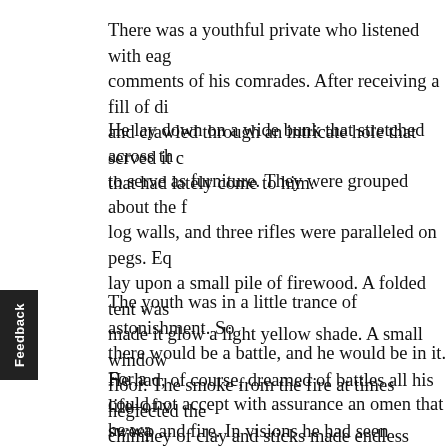There was a youthful private who listened with eag comments of his comrades. After receiving a fill of di and crawled through an intricate hole that served it c that had lately come to him.
He lay down on a wide bunk that stretched across th to serve as furniture. They were grouped about the f log walls, and three rifles were paralleled on pegs. Eq lay upon a small pile of firewood. A folded tent was made it glow a light yellow shade. A small window floor. The smoke from the fire at times neglected the chimney of clay and sticks made endless threats to se
The youth was in a little trance of astonishment. So there would be a battle, and he would be in it. For a could not accept with assurance an omen that he wa
He had, of course, dreamed of battles all his life–of v sweep and fire. In visions he had seen himself in man of his eagle-eyed prowess. But awake he had regarded put them as things of the bygone with his thought-in